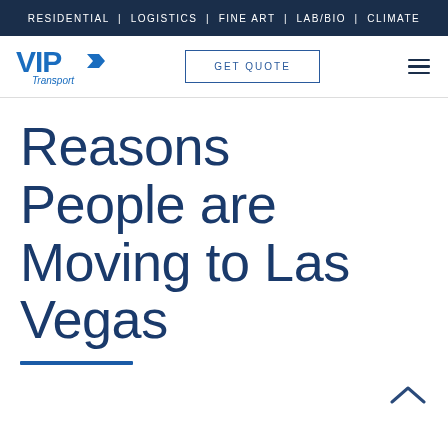RESIDENTIAL | LOGISTICS | FINE ART | LAB/BIO | CLIMATE
[Figure (logo): VIP Transport logo — blue VIP lettering with arrow, 'Transport' below]
GET QUOTE
Reasons People are Moving to Las Vegas